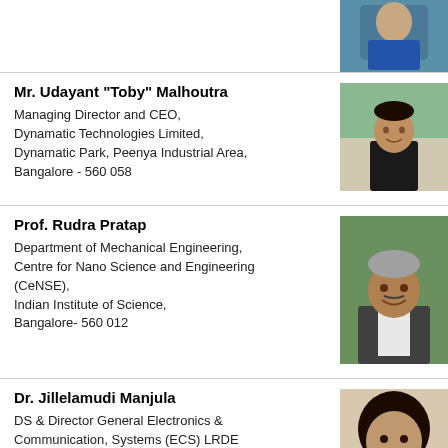[Figure (photo): Partial photo of a person, cropped at top of page]
Mr. Udayant "Toby" Malhoutra
Managing Director and CEO,
Dynamatic Technologies Limited,
Dynamatic Park, Peenya Industrial Area,
Bangalore - 560 058
[Figure (photo): Photo of Mr. Udayant 'Toby' Malhoutra, a man in dark shirt standing at a table]
Prof. Rudra Pratap
Department of Mechanical Engineering,
Centre for Nano Science and Engineering (CeNSE),
Indian Institute of Science,
Bangalore- 560 012
[Figure (photo): Photo of Prof. Rudra Pratap, a middle-aged man smiling in a suit]
Dr. Jillelamudi Manjula
DS & Director General Electronics &
Communication, Systems (ECS) LRDE
Campus, CV Raman Nagar,
Bengaluru-560 093
[Figure (photo): Partial photo of Dr. Jillelamudi Manjula]